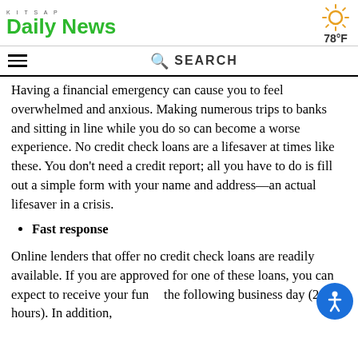KITSAP Daily News | 78°F
Having a financial emergency can cause you to feel overwhelmed and anxious. Making numerous trips to banks and sitting in line while you do so can become a worse experience. No credit check loans are a lifesaver at times like these. You don't need a credit report; all you have to do is fill out a simple form with your name and address—an actual lifesaver in a crisis.
Fast response
Online lenders that offer no credit check loans are readily available. If you are approved for one of these loans, you can expect to receive your funds the following business day (24 hours). In addition,